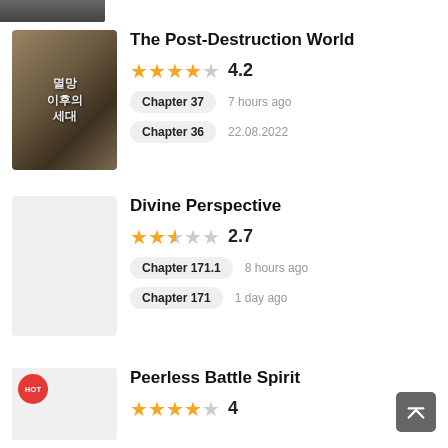[Figure (illustration): Partial manga cover image at top, cropped]
The Post-Destruction World
Rating: 4.2 stars (4 filled, 1 empty)
Chapter 37 · 7 hours ago
Chapter 36 · 22.08.2022
Divine Perspective
Rating: 2.7 stars (2 filled, 1 half, 2 empty)
Chapter 171.1 · 8 hours ago
Chapter 171 · 1 day ago
Peerless Battle Spirit
Rating: 4 stars (4 filled, 1 empty)